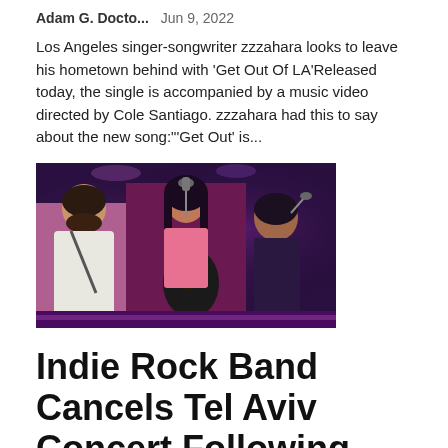Adam G. Docto...   Jun 9, 2022
Los Angeles singer-songwriter zzzahara looks to leave his hometown behind with 'Get Out Of LA'Released today, the single is accompanied by a music video directed by Cole Santiago. zzzahara had this to say about the new song:"'Get Out' is...
[Figure (photo): Concert photo showing musicians performing on stage with purple stage lighting. A man with a beard in a white shirt is visible on the left, a woman playing guitar at a microphone in the center, and another musician in the background.]
Indie Rock Band Cancels Tel Aviv Concert Following BDS Pressure